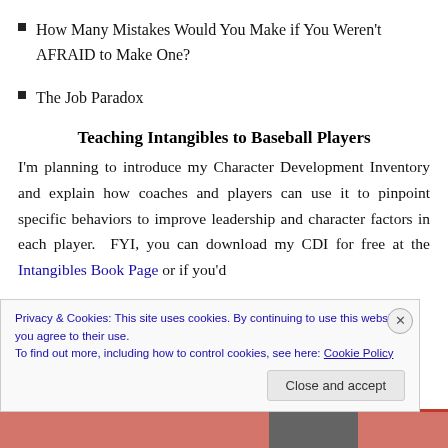How Many Mistakes Would You Make if You Weren't AFRAID to Make One?
The Job Paradox
Teaching Intangibles to Baseball Players
I'm planning to introduce my Character Development Inventory and explain how coaches and players can use it to pinpoint specific behaviors to improve leadership and character factors in each player.  FYI, you can download my CDI for free at the Intangibles Book Page or if you'd
Privacy & Cookies: This site uses cookies. By continuing to use this website, you agree to their use.
To find out more, including how to control cookies, see here: Cookie Policy
Close and accept